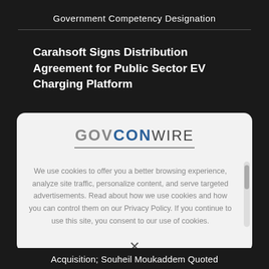Government Competency Designation
Carahsoft Signs Distribution Agreement for Public Sector EV Charging Platform
[Figure (logo): GovConWire logo with GOV in gray, CON in blue, WIRE in dark gray, underlined]
We use cookies to offer you a better browsing experience, analyze site traffic, personalize content, and serve targeted advertisements. Read about how we use cookies and how you can control them on our Privacy Policy. If you continue to use this site, you consent to our use of cookies.
X
Acquisition; Souheil Moukaddem Quoted